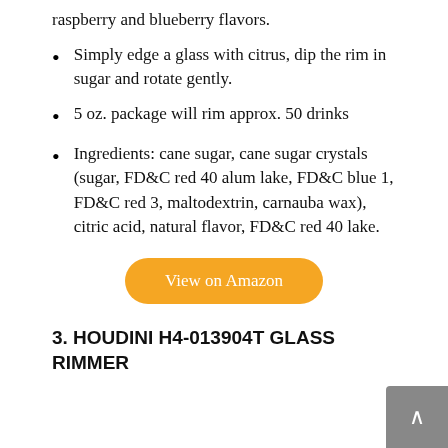raspberry and blueberry flavors.
Simply edge a glass with citrus, dip the rim in sugar and rotate gently.
5 oz. package will rim approx. 50 drinks
Ingredients: cane sugar, cane sugar crystals (sugar, FD&C red 40 alum lake, FD&C blue 1, FD&C red 3, maltodextrin, carnauba wax), citric acid, natural flavor, FD&C red 40 lake.
View on Amazon
3. HOUDINI H4-013904T GLASS RIMMER